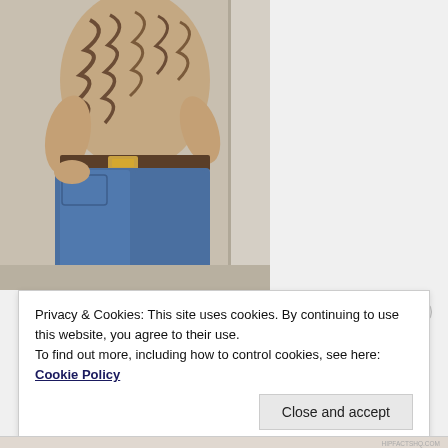[Figure (photo): A woman wearing a zebra-print top with a brown/gold belt and blue jeans, photographed from neck to knees, standing in front of a door/mirror.]
Privacy & Cookies: This site uses cookies. By continuing to use this website, you agree to their use.
To find out more, including how to control cookies, see here:
Cookie Policy
Close and accept